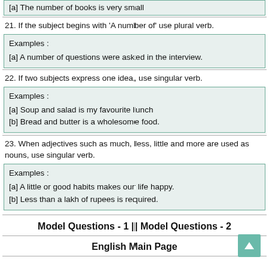[a] The number of books is very small
21. If the subject begins with 'A number of' use plural verb.
Examples :
[a] A number of questions were asked in the interview.
22. If two subjects express one idea, use singular verb.
Examples :
[a] Soup and salad is my favourite lunch
[b] Bread and butter is a wholesome food.
23. When adjectives such as much, less, little and more are used as nouns, use singular verb.
Examples :
[a] A little or good habits makes our life happy.
[b] Less than a lakh of rupees is required.
Model Questions - 1 || Model Questions - 2
English Main Page